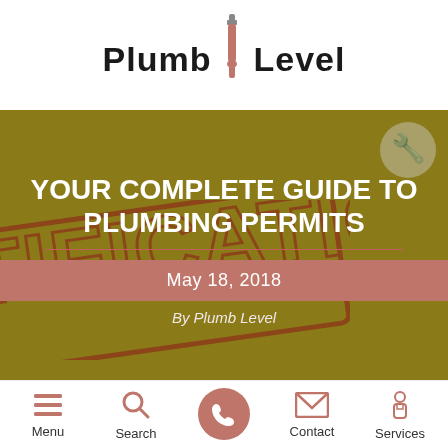[Figure (logo): Plumb Level logo with wrench icon between words]
YOUR COMPLETE GUIDE TO PLUMBING PERMITS
May 18, 2018
By Plumb Level
[Figure (infographic): Bottom navigation bar with Menu, Search, Call, Contact, and Services icons]